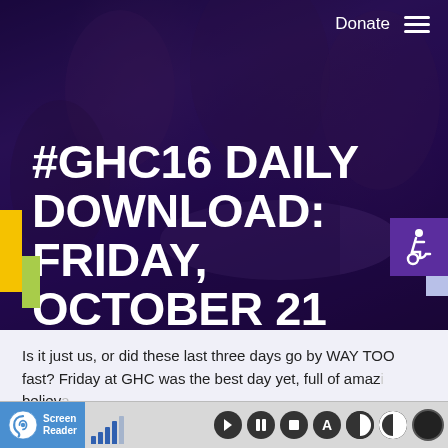#GHC16 DAILY DOWNLOAD: FRIDAY, OCTOBER 21
Is it just us, or did these last three days go by WAY TOO fast? Friday at GHC was the best day yet, full of amaz[ing...] believ[able...]